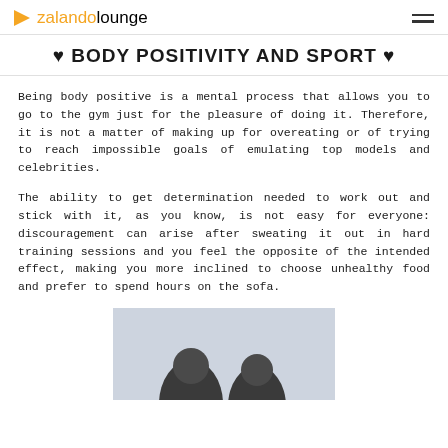zalando lounge
♥ BODY POSITIVITY AND SPORT ♥
Being body positive is a mental process that allows you to go to the gym just for the pleasure of doing it. Therefore, it is not a matter of making up for overeating or of trying to reach impossible goals of emulating top models and celebrities.
The ability to get determination needed to work out and stick with it, as you know, is not easy for everyone: discouragement can arise after sweating it out in hard training sessions and you feel the opposite of the intended effect, making you more inclined to choose unhealthy food and prefer to spend hours on the sofa.
[Figure (photo): Photo of two people from the shoulders up against a light blue/grey background]